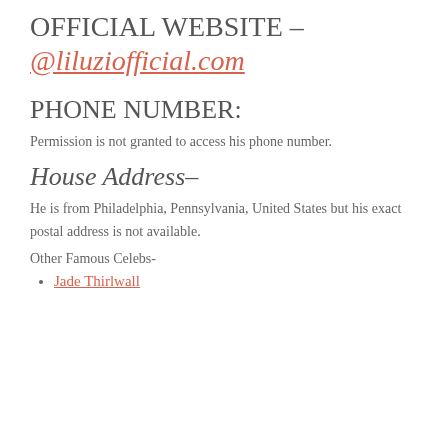OFFICIAL WEBSITE – @liluziofficial.com
PHONE NUMBER:
Permission is not granted to access his phone number.
House Address–
He is from Philadelphia, Pennsylvania, United States but his exact postal address is not available.
Other Famous Celebs-
Jade Thirlwall